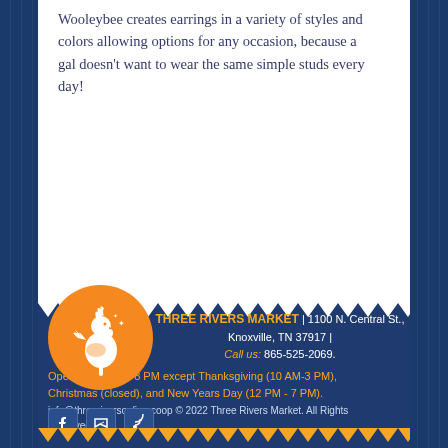Wooleybee creates earrings in a variety of styles and colors allowing options for any occasion, because a gal doesn’t want to wear the same simple studs every day!
[Figure (logo): Orange circle with white rooster silhouette logo for Three Rivers Market]
THREE RIVERS MARKET | 1100 N. Central St., Knoxville, TN 37917 | Call us: 865-525-2069.
Open Daily 8 AM-8 PM except Thanksgiving (10 AM-3 PM), Christmas (closed), and New Years Day (12 PM - 7 PM).
info@threeriversonline.coop © 2022 Three Rivers Market. All Rights Reserved. |
Site by: Robin Easter Design
[Figure (other): Social media icons: Facebook, Vimeo, RSS feed]